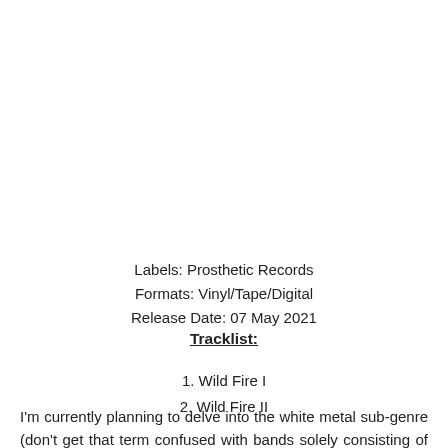Labels: Prosthetic Records
Formats: Vinyl/Tape/Digital
Release Date: 07 May 2021
Tracklist:
1. Wild Fire I
2. Wild Fire II
I'm currently planning to delve into the white metal sub-genre (don't get that term confused with bands solely consisting of white musicians, because it's really about